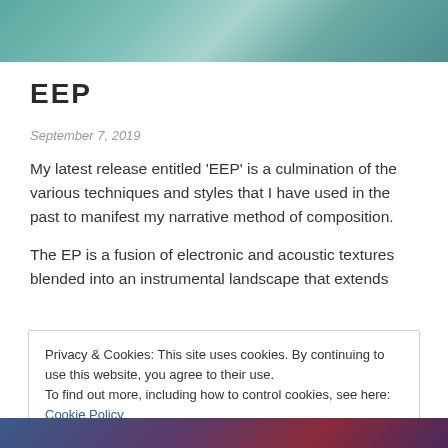[Figure (photo): Teal/turquoise abstract image at the top of the page]
EEP
September 7, 2019
My latest release entitled 'EEP' is a culmination of the various techniques and styles that I have used in the past to manifest my narrative method of composition.
The EP is a fusion of electronic and acoustic textures blended into an instrumental landscape that extends
Privacy & Cookies: This site uses cookies. By continuing to use this website, you agree to their use.
To find out more, including how to control cookies, see here: Cookie Policy
[Figure (photo): Dark blue/purple/red abstract image at the bottom of the page]